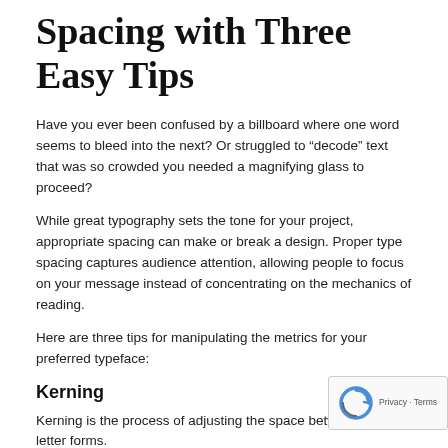Sharpen the Right Type Spacing with Three Easy Tips
Have you ever been confused by a billboard where one word seems to bleed into the next? Or struggled to “decode” text that was so crowded you needed a magnifying glass to proceed?
While great typography sets the tone for your project, appropriate spacing can make or break a design. Proper type spacing captures audience attention, allowing people to focus on your message instead of concentrating on the mechanics of reading.
Here are three tips for manipulating the metrics for your preferred typeface:
Kerning
Kerning is the process of adjusting the space between individual letter forms.